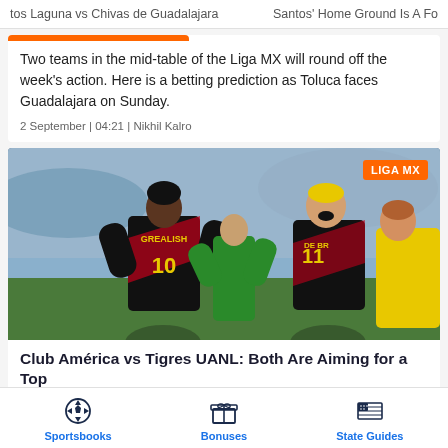tos Laguna vs Chivas de Guadalajara  |  Santos' Home Ground Is A Fo
Two teams in the mid-table of the Liga MX will round off the week's action. Here is a betting prediction as Toluca faces Guadalajara on Sunday.
2 September | 04:21 | Nikhil Kalro
[Figure (photo): Football match action photo with players in black/red jerseys numbered 10 (GREALISH) and DE BRU (partially visible), and a referee in green. LIGA MX badge overlay.]
Club América vs Tigres UANL: Both Are Aiming for a Top
Sportsbooks  Bonuses  State Guides